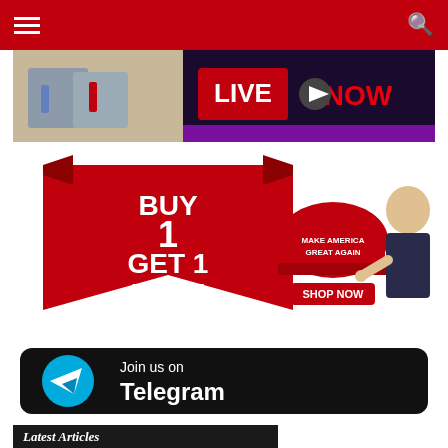Navigation header with hamburger menu and search icon
[Figure (screenshot): LIVE NOW banner with two men in suits and red 'LIVE NOW' text with play button on dark background]
[Figure (infographic): BUY 1 GET 1 FREE red ribbon banner with MAKE AMERICA GREAT AGAIN red cap and man pointing finger, SHOP NOW button]
[Figure (infographic): Join us on Telegram button - black rounded rectangle with Telegram logo (blue circle with paper plane) and white text]
Latest Articles